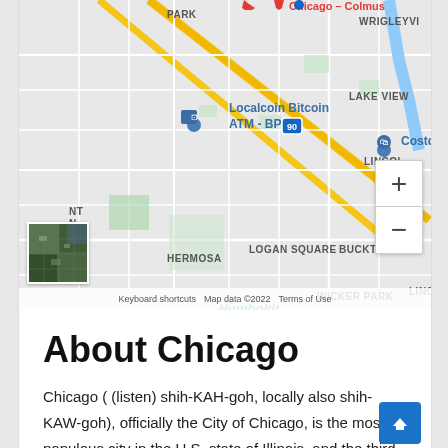[Figure (map): Google Maps view of Chicago neighborhoods including Logan Square, Bucktown, Hermosa, Wicker Park, Humboldt/Alexander Von Park areas. Shows pins for Localcoin Bitcoin ATM - BP and Costco Wholesale. Zoom controls visible on right. Satellite thumbnail in bottom-left. Map data ©2022.]
About Chicago
Chicago ( (listen) shih-KAH-goh, locally also shih-KAW-goh), officially the City of Chicago, is the most populous city in the U.S. state of Illinois, and the third-most populous city in the